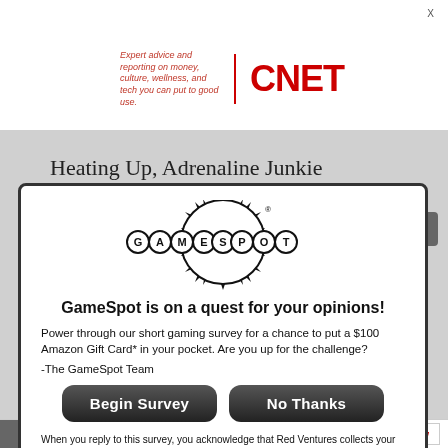[Figure (logo): CNET logo with tagline - Expert advice and reporting on money, culture, wellness, and tech you can put to good use.]
Heating Up, Adrenaline Junkie
[Figure (logo): GameSpot logo - circular badge style with spiky burst]
GameSpot is on a quest for your opinions!
Power through our short gaming survey for a chance to put a $100 Amazon Gift Card* in your pocket.  Are you up for the challenge?
-The GameSpot Team
[Figure (other): Begin Survey button - dark rounded rectangle]
[Figure (other): No Thanks button - dark rounded rectangle]
When you reply to this survey, you acknowledge that Red Ventures collects your personal data in accordance with the Red Ventures privacy policy
For sweepstakes rules, see here.
Contact us about this survey.
Destiny 2
+ Follow